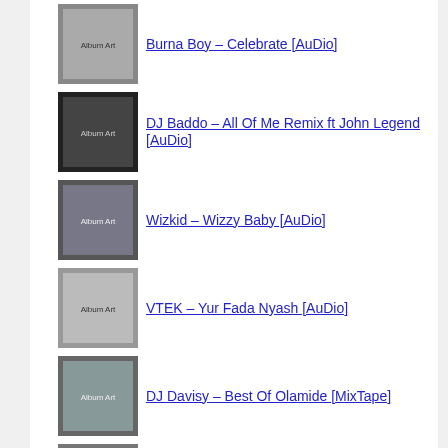Burna Boy – Celebrate [AuDio]
DJ Baddo – All Of Me Remix ft John Legend [AuDio]
Wizkid – Wizzy Baby [AuDio]
VTEK – Yur Fada Nyash [AuDio]
DJ Davisy – Best Of Olamide [MixTape]
Lace – Change My Story [AuDio]
Olamide & Phyno – Ladi ft Lil Kesh [AuDio]
LayLow – See You Again [AuDio]